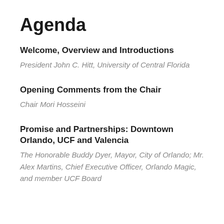Agenda
Welcome, Overview and Introductions
President John C. Hitt, University of Central Florida
Opening Comments from the Chair
Chair Mori Hosseini
Promise and Partnerships: Downtown Orlando, UCF and Valencia
The Honorable Buddy Dyer, Mayor, City of Orlando; Mr. Alex Martins, Chief Executive Officer, Orlando Magic, and member UCF Board